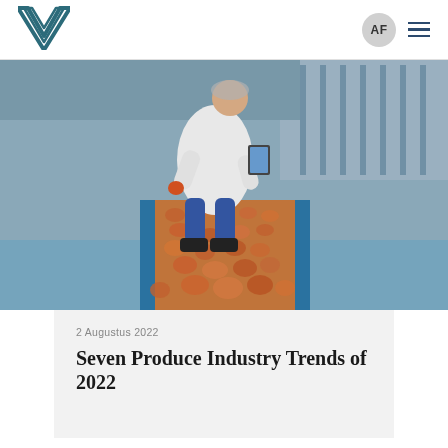AF (user avatar) navigation menu
[Figure (photo): A food industry worker in a white lab coat and hairnet crouches down on a factory floor inspecting tomatoes on a blue conveyor belt, holding a tablet device. The conveyor belt is filled with orange-red tomatoes extending into the background of the facility.]
2 Augustus 2022
Seven Produce Industry Trends of 2022